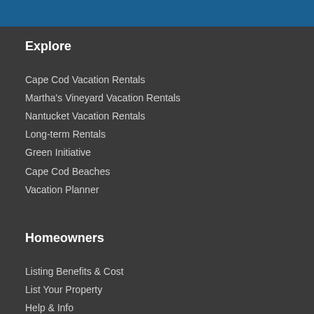Explore
Cape Cod Vacation Rentals
Martha's Vineyard Vacation Rentals
Nantucket Vacation Rentals
Long-term Rentals
Green Initiative
Cape Cod Beaches
Vacation Planner
Homeowners
Listing Benefits & Cost
List Your Property
Help & Info